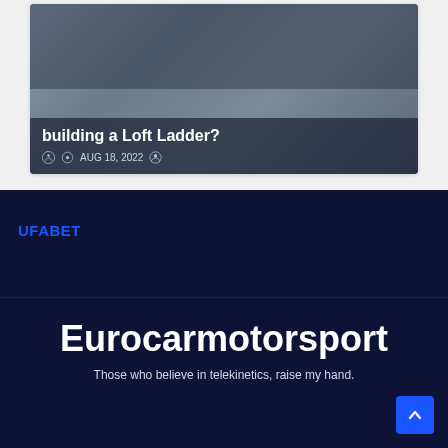[Figure (photo): Card with image of construction/ladder project, showing title 'building a Loft Ladder?' and date AUG 18, 2022 with author icon]
AUG 18, 2022
UFABET
Eurocarmotorsport
Those who believe in telekinetics, raise my hand.